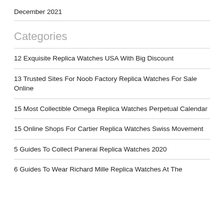December 2021
Categories
12 Exquisite Replica Watches USA With Big Discount
13 Trusted Sites For Noob Factory Replica Watches For Sale Online
15 Most Collectible Omega Replica Watches Perpetual Calendar
15 Online Shops For Cartier Replica Watches Swiss Movement
5 Guides To Collect Panerai Replica Watches 2020
6 Guides To Wear Richard Mille Replica Watches At The